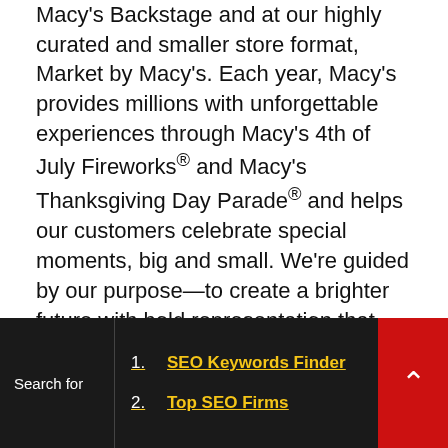Macy's Backstage and at our highly curated and smaller store format, Market by Macy's. Each year, Macy's provides millions with unforgettable experiences through Macy's 4th of July Fireworks® and Macy's Thanksgiving Day Parade® and helps our customers celebrate special moments, big and small. We're guided by our purpose—to create a brighter future with bold representation that empowers more voice, choice and ownership for our colleagues, customers and communities.
For additional media information, please visit macyseventmedia.com.
Contacts
C_____ M______/Ali___ Cli___
[Figure (screenshot): Dark overlay bar at bottom of page showing 'Search for' label on left, two SEO-related links in center (1. SEO Keywords Finder, 2. Top SEO Firms), and a red scroll-to-top button on the right.]